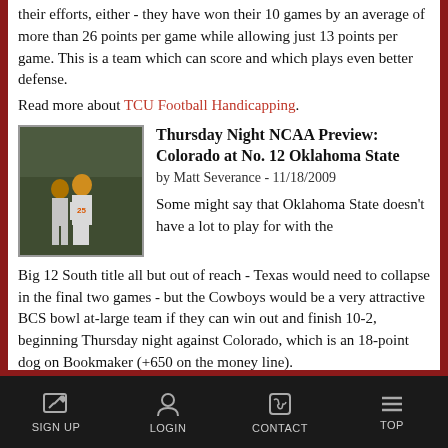their efforts, either - they have won their 10 games by an average of more than 26 points per game while allowing just 13 points per game. This is a team which can score and which plays even better defense.
Read more about TCU Football Handicapping.
[Figure (photo): Football players running on field, one wearing jersey number 25]
Thursday Night NCAA Preview: Colorado at No. 12 Oklahoma State
by Matt Severance - 11/18/2009
Some might say that Oklahoma State doesn't have a lot to play for with the Big 12 South title all but out of reach - Texas would need to collapse in the final two games - but the Cowboys would be a very attractive BCS bowl at-large team if they can win out and finish 10-2, beginning Thursday night against Colorado, which is an 18-point dog on Bookmaker (+650 on the money line).
Read more about Oklahoma State at Colorado
SIGN UP  LOGIN  CONTACT  TOP